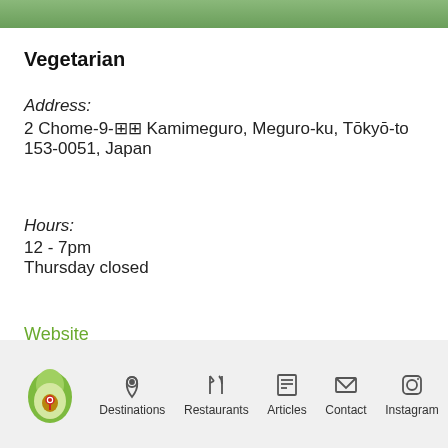[Figure (photo): Top strip showing partial restaurant/food image]
Vegetarian
Address:
2 Chome-9-[??] Kamimeguro, Meguro-ku, Tōkyō-to 153-0051, Japan
Hours:
12 - 7pm
Thursday closed
Website
Instagram
Facebook
Destinations | Restaurants | Articles | Contact | Instagram